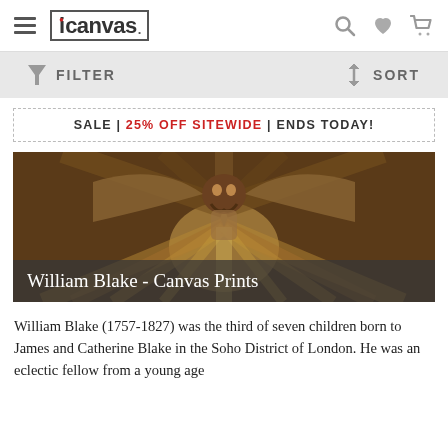icanvas — navigation header with hamburger menu, logo, search, wishlist, and cart icons
FILTER | SORT
SALE | 25% OFF SITEWIDE | ENDS TODAY!
[Figure (photo): A William Blake artwork showing a mystical figure with outstretched arms radiating energy, with the overlay text 'William Blake - Canvas Prints']
William Blake (1757-1827) was the third of seven children born to James and Catherine Blake in the Soho District of London. He was an eclectic fellow from a young age